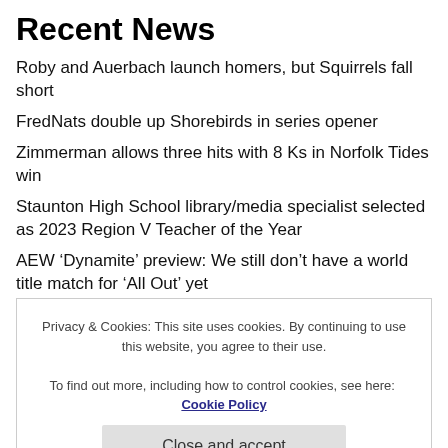Recent News
Roby and Auerbach launch homers, but Squirrels fall short
FredNats double up Shorebirds in series opener
Zimmerman allows three hits with 8 Ks in Norfolk Tides win
Staunton High School library/media specialist selected as 2023 Region V Teacher of the Year
AEW ‘Dynamite’ preview: We still don’t have a world title match for ‘All Out’ yet
Judge throws out suit by Virginia Republican legislators aiming to censor LGBTQ+ books
Featured News
Privacy & Cookies: This site uses cookies. By continuing to use this website, you agree to their use.
To find out more, including how to control cookies, see here: Cookie Policy
Close and accept
Buchanan County residents waiting for help to begin